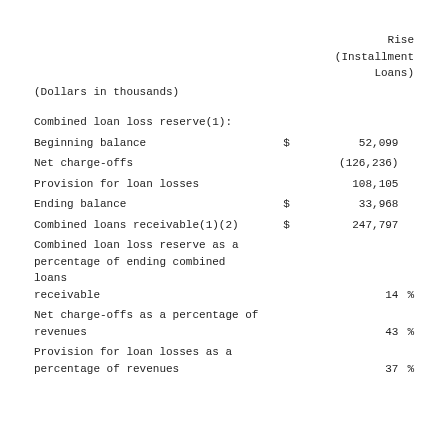| (Dollars in thousands) | Rise (Installment Loans) |
| --- | --- |
| Combined loan loss reserve(1): |  |  |
| Beginning balance | $ | 52,099 |
| Net charge-offs |  | (126,236) |
| Provision for loan losses |  | 108,105 |
| Ending balance | $ | 33,968 |
| Combined loans receivable(1)(2) | $ | 247,797 |
| Combined loan loss reserve as a percentage of ending combined loans receivable |  | 14 % |
| Net charge-offs as a percentage of revenues |  | 43 % |
| Provision for loan losses as a percentage of revenues |  | 37 % |